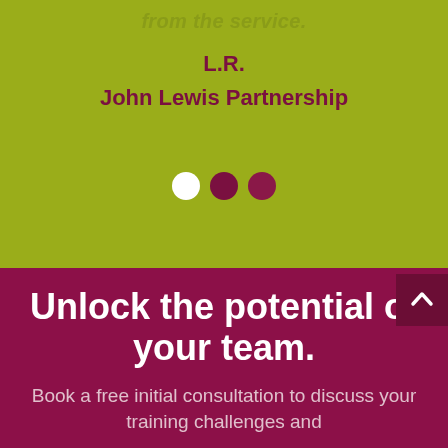from the service.
L.R.
John Lewis Partnership
[Figure (other): Three pagination dots: white, dark maroon, dark maroon]
Unlock the potential of your team.
Book a free initial consultation to discuss your training challenges and